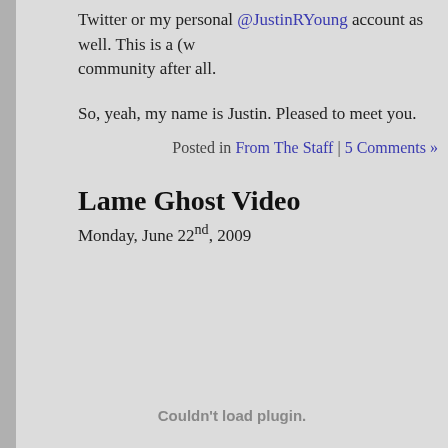Twitter or my personal @JustinRYoung account as well. This is a (w community after all.
So, yeah, my name is Justin. Pleased to meet you.
Posted in From The Staff | 5 Comments »
Lame Ghost Video
Monday, June 22nd, 2009
Couldn't load plugin.